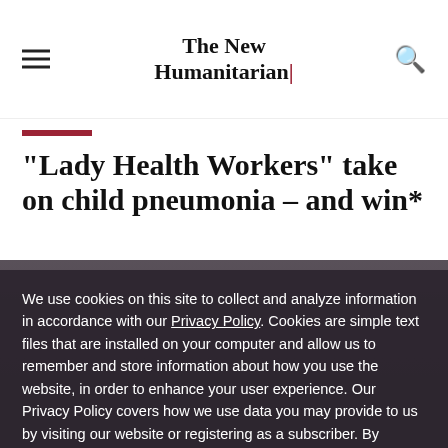The New Humanitarian
“Lady Health Workers” take on child pneumonia – and win*
We use cookies on this site to collect and analyze information in accordance with our Privacy Policy. Cookies are simple text files that are installed on your computer and allow us to remember and store information about how you use the website, in order to enhance your user experience. Our Privacy Policy covers how we use data you may provide to us by visiting our website or registering as a subscriber. By continuing to use this website, you give your consent to our Privacy Policy and to our use of cookies.
OK, I agree